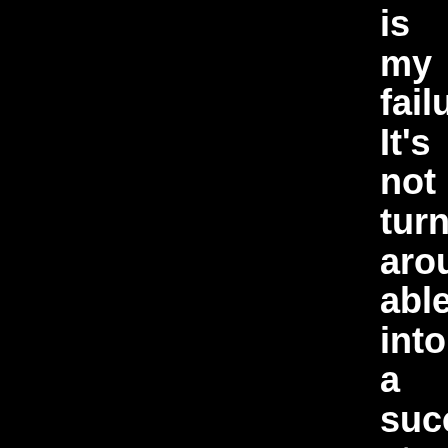is my failu It's not turn- arou able into a succ strat to avoi his mas voic that I don' call my work my piec